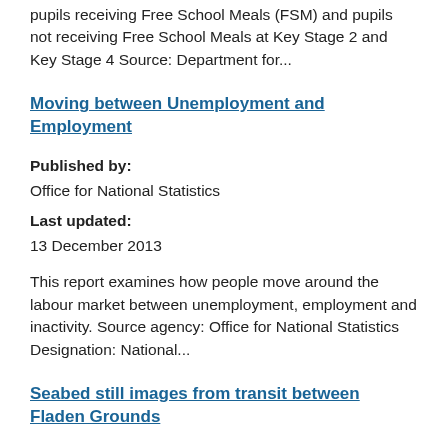pupils receiving Free School Meals (FSM) and pupils not receiving Free School Meals at Key Stage 2 and Key Stage 4 Source: Department for...
Moving between Unemployment and Employment
Published by:
Office for National Statistics
Last updated:
13 December 2013
This report examines how people move around the labour market between unemployment, employment and inactivity. Source agency: Office for National Statistics Designation: National...
Seabed still images from transit between Fladen Grounds
Published by:
Joint Nature Conservation Committee